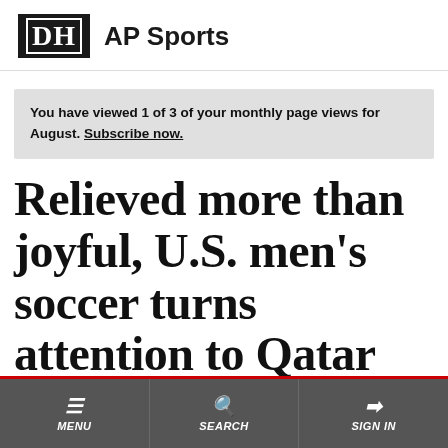DH AP Sports
You have viewed 1 of 3 of your monthly page views for August. Subscribe now.
Relieved more than joyful, U.S. men's soccer turns attention to Qatar
MENU SEARCH SIGN IN